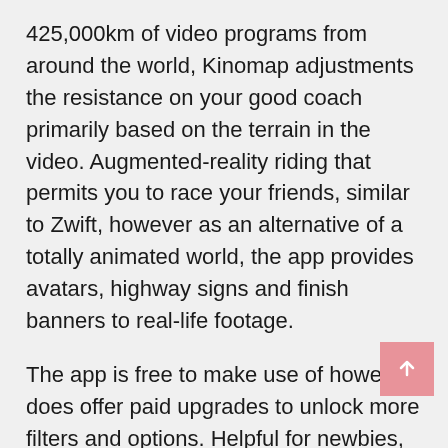425,000km of video programs from around the world, Kinomap adjustments the resistance on your good coach primarily based on the terrain in the video. Augmented-reality riding that permits you to race your friends, similar to Zwift, however as an alternative of a totally animated world, the app provides avatars, highway signs and finish banners to real-life footage.
The app is free to make use of however does offer paid upgrades to unlock more filters and options. Helpful for newbies, Lightroom has integrated delicate hints and tutorials along the means in which by gently guiding the user by way of extra advanced instruments, like therapeutic brush or masking. In comparability to different cellular apps, this makes for a refreshing change as a substitute of having a tutorial video all of a